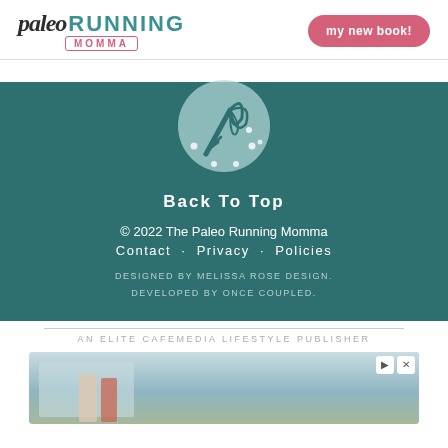[Figure (logo): Paleo Running Momma logo with text and whisk icon]
my new book!
[Figure (illustration): Whisk icon on teal circle background]
Back To Top
© 2022 The Paleo Running Momma
Contact · Privacy · Policies
DESIGNED BY MELISSA ROSE DESIGN.
DEVELOPED BY ONCE COUPLED.
AN ELITE CAFEMEDIA LIFESTYLE PUBLISHER
[Figure (photo): Advertisement photo showing a couple outside a house]